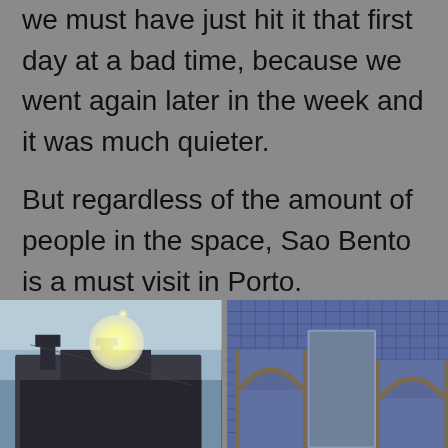we must have just hit it that first day at a bad time, because we went again later in the week and it was much quieter.
But regardless of the amount of people in the space, Sao Bento is a must visit in Porto.
<
[Figure (photo): Left photo: exterior of a historic building (likely Sao Bento station) against a bright sky with the sun visible]
[Figure (photo): Right photo: interior or exterior of Sao Bento station showing blue azulejo tile panels and arched architecture]